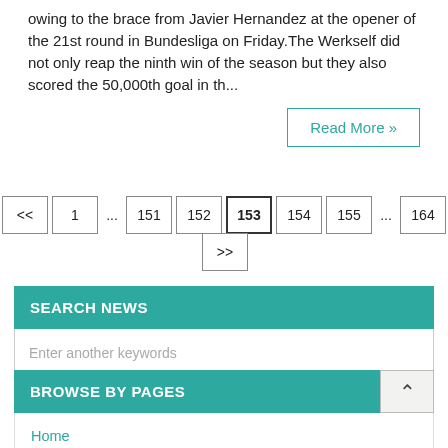owing to the brace from Javier Hernandez at the opener of the 21st round in Bundesliga on Friday.The Werkself did not only reap the ninth win of the season but they also scored the 50,000th goal in th...
Read More »
<< 1 ... 151 152 153 154 155 ... 164 >>
SEARCH NEWS
Enter another keywords
BROWSE BY PAGES
Home
Contact Us